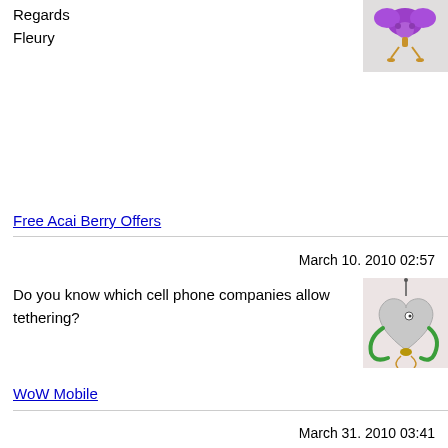Regards
Fleury
[Figure (illustration): Purple flower/character avatar illustration with small orange details on light gray background]
Free Acai Berry Offers
March 10. 2010 02:57
Do you know which cell phone companies allow tethering?
[Figure (illustration): Heart-shaped character with green ribbon/wire and golden details on light pinkish background]
WoW Mobile
March 31. 2010 03:41